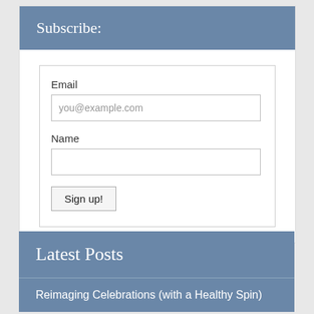Subscribe:
[Figure (screenshot): Email subscription form with Email and Name fields and a Sign up! button]
Latest Posts
Reimaging Celebrations (with a Healthy Spin)